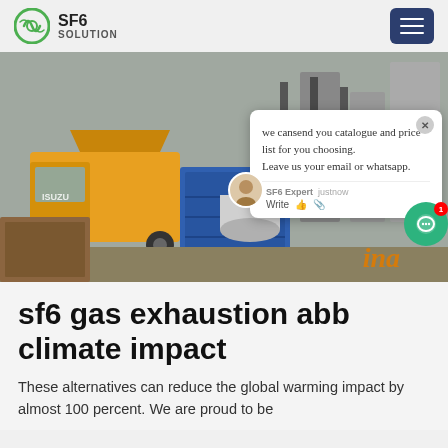SF6 SOLUTION
[Figure (photo): Industrial scene with a yellow ISUZU truck and blue shipping containers at a power substation with large black columns and cooling towers in the background. A chat popup overlay is visible on the right side of the image with text: 'we can send you catalogue and price list for you choosing. Leave us your email or whatsapp.' with SF6 Expert chat interface. Green chat bubble with notification badge. Orange italic 'ina' text partially visible at bottom right.]
sf6 gas exhaustion abb climate impact
These alternatives can reduce the global warming impact by almost 100 percent. We are proud to be